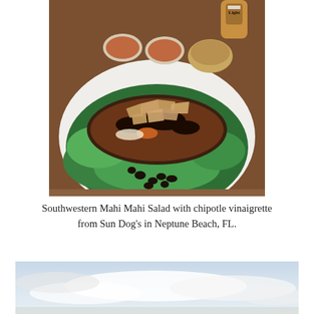[Figure (photo): A plate of Southwestern Mahi Mahi Salad with chipotle vinaigrette — grilled blackened fish fillet topped with tortilla chips on a bed of green lettuce with black beans and shredded cheese. Small cups of chipotle dipping sauce and a bread roll visible in the background, along with a Miller Lite beer bottle.]
Southwestern Mahi Mahi Salad with chipotle vinaigrette from Sun Dog's in Neptune Beach, FL.
[Figure (photo): Partial view of a sky with clouds over what appears to be a beach or coastal area.]